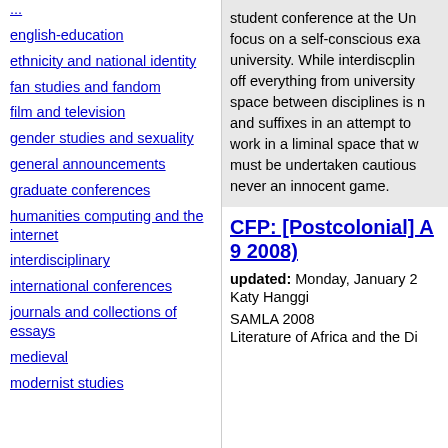english-education
ethnicity and national identity
fan studies and fandom
film and television
gender studies and sexuality
general announcements
graduate conferences
humanities computing and the internet
interdisciplinary
international conferences
journals and collections of essays
medieval
modernist studies
student conference at the Un... focus on a self-conscious exa... university. While interdiscplin... off everything from university... space between disciplines is n... and suffixes in an attempt to ... work in a liminal space that w... must be undertaken cautious... never an innocent game.
CFP: [Postcolonial] A... 9 2008)
updated: Monday, January 2...
Katy Hanggi
SAMLA 2008
Literature of Africa and the Di...